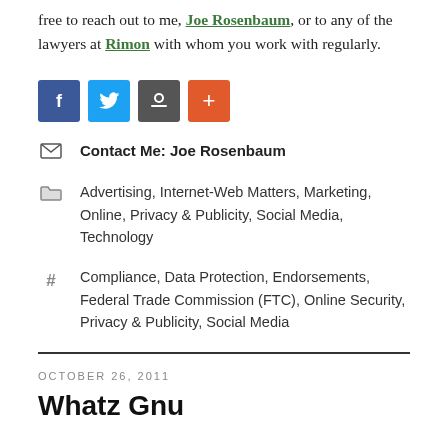free to reach out to me, Joe Rosenbaum, or to any of the lawyers at Rimon with whom you work with regularly.
[Figure (other): Social sharing buttons: Facebook (blue), Twitter (light blue), Google+ (gray), Add (orange-red)]
Contact Me: Joe Rosenbaum
Advertising, Internet-Web Matters, Marketing, Online, Privacy & Publicity, Social Media, Technology
Compliance, Data Protection, Endorsements, Federal Trade Commission (FTC), Online Security, Privacy & Publicity, Social Media
OCTOBER 26, 2011
Whatz Gnu